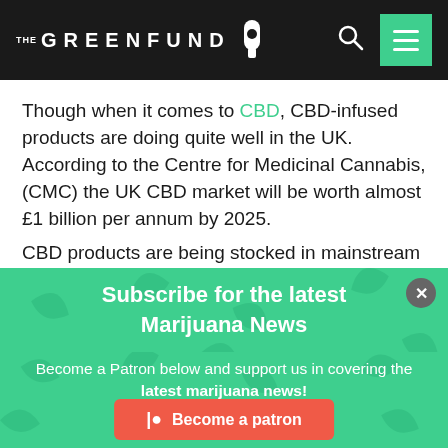THE GREENFUND
Though when it comes to CBD, CBD-infused products are doing quite well in the UK. According to the Centre for Medicinal Cannabis, (CMC) the UK CBD market will be worth almost £1 billion per annum by 2025.
CBD products are being stocked in mainstream health
Subscribe for the latest Marijuana News
Enter your email
Subscribe
Become a Patron below and support us in covering the latest marijuana news!
Become a patron